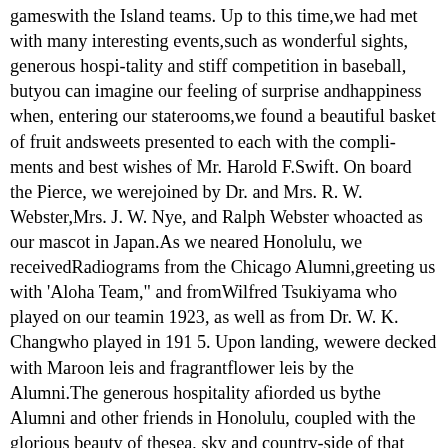gameswith the Island teams. Up to this time,we had met with many interesting events,such as wonderful sights, generous hospi-tality and stiff competition in baseball, butyou can imagine our feeling of surprise andhappiness when, entering our staterooms,we found a beautiful basket of fruit andsweets presented to each with the compli-ments and best wishes of Mr. Harold F.Swift. On board the Pierce, we werejoined by Dr. and Mrs. R. W. Webster,Mrs. J. W. Nye, and Ralph Webster whoacted as our mascot in Japan.As we neared Honolulu, we receivedRadiograms from the Chicago Alumni,greeting us with 'Aloha Team," and fromWilfred Tsukiyama who played on our teamin 1923, as well as from Dr. W. K. Changwho played in 191 5. Upon landing, wewere decked with Maroon leis and fragrantflower leis by the Alumni.The generous hospitality afiorded us bythe Alumni and other friends in Honolulu, coupled with the glorious beauty of thesea, sky and country-side of that romanticgroup of islands, and the languid atmos-phere to which we had to become more orless accustomed, tendered to lead us awayfrom thoughts of the primary object of ourvisit. We were there to play baseball andhad a series of four games scheduled. Uponour arrivai, at the request of Gov. Farring-ton and Major General Lewis, command-ing Schofield Barracks, we agreed to playthe Schofield Barracks team, champions ofthe army, as a feature of the opening of theAll-Hawaiian Territorial Fair.Our series in Honolulu «'as to be playedwith teams that played excellent baseball.Our first game, with the All-Japanese team resulted in a victory for us, 17 to 2. Thegame with the